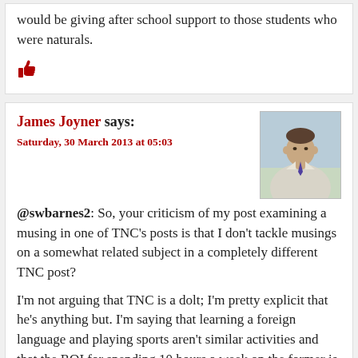would be giving after school support to those students who were naturals.
[Figure (other): Thumbs up icon in dark red]
James Joyner says:
Saturday, 30 March 2013 at 05:03
[Figure (photo): Avatar photo of James Joyner, a man in a light colored jacket]
@swbarnes2: So, your criticism of my post examining a musing in one of TNC’s posts is that I don’t tackle musings on a somewhat related subject in a completely different TNC post?

I’m not arguing that TNC is a dolt; I’m pretty explicit that he’s anything but. I’m saying that learning a foreign language and playing sports aren’t similar activities and that the ROI for spending 10 hours a week on the former is likely less than for the latter.
[Figure (other): Thumbs up icon in dark red]